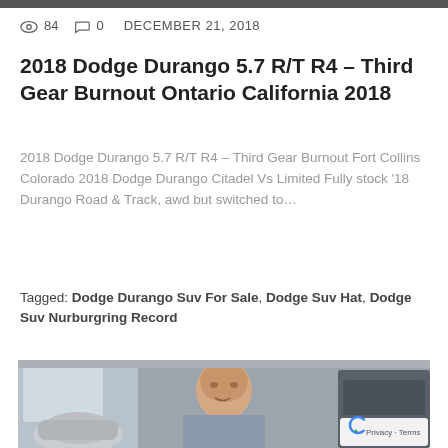84   0   DECEMBER 21, 2018
2018 Dodge Durango 5.7 R/T R4 – Third Gear Burnout Ontario California 2018
2018 Dodge Durango 5.7 R/T R4 – Third Gear Burnout Fort Collins Colorado 2018 Dodge Durango Citadel Vs Limited Fully stock '18 Durango Road & Track, awd but switched to…
Tagged: Dodge Durango Suv For Sale, Dodge Suv Hat, Dodge Suv Nurburgring Record
[Figure (photo): A bald man inside a car dealership showroom, with cars visible in the background including a small round car on the left. A reCAPTCHA badge appears in the bottom right corner with 'Privacy - Terms' text.]